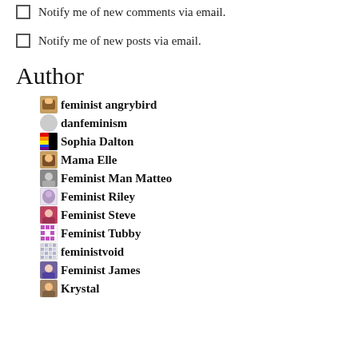Notify me of new comments via email.
Notify me of new posts via email.
Author
feminist angrybird
danfeminism
Sophia Dalton
Mama Elle
Feminist Man Matteo
Feminist Riley
Feminist Steve
Feminist Tubby
feministvoid
Feminist James
Krystal